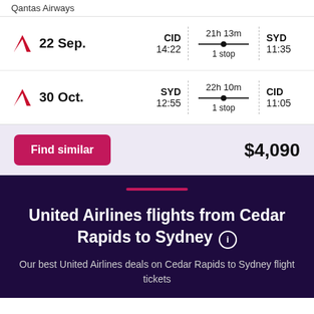Qantas Airways
| Date | From | Duration/Stops | To |
| --- | --- | --- | --- |
| 22 Sep. | CID 14:22 | 21h 13m 1 stop | SYD 11:35 |
| 30 Oct. | SYD 12:55 | 22h 10m 1 stop | CID 11:05 |
Find similar   $4,090
United Airlines flights from Cedar Rapids to Sydney
Our best United Airlines deals on Cedar Rapids to Sydney flight tickets